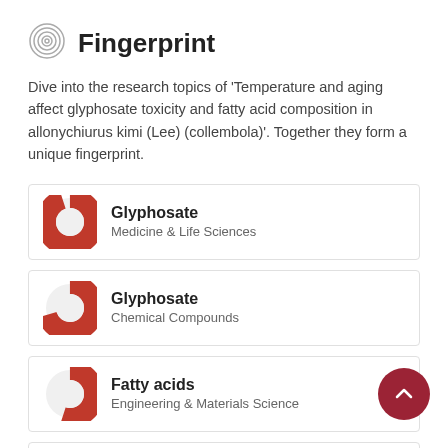Fingerprint
Dive into the research topics of 'Temperature and aging affect glyphosate toxicity and fatty acid composition in allonychiurus kimi (Lee) (collembola)'. Together they form a unique fingerprint.
Glyphosate
Medicine & Life Sciences
Glyphosate
Chemical Compounds
Fatty acids
Engineering & Materials Science
Toxicity
Engineering & Materials Science